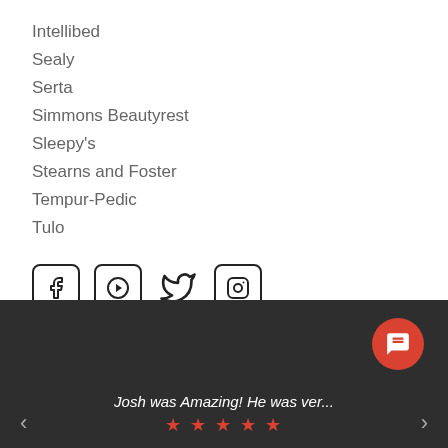Intellibed
Sealy
Serta
Simmons Beautyrest
Sleepy's
Stearns and Foster
Tempur-Pedic
Tulo
[Figure (infographic): Social media icons: Facebook, YouTube, Twitter, Instagram]
4.9 | 243 Google Reviews
Write a Review
Josh was Amazing! He was ver...